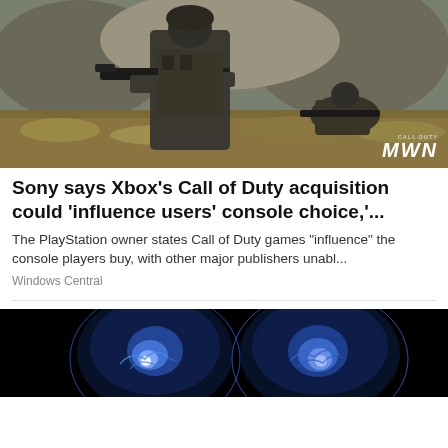[Figure (photo): Call of Duty Modern Warfare screenshot showing a soldier in dark tactical gear holding a rifle in the foreground, with another soldier crouching in a dry grassy terrain with rocky background. CALL OF DUTY MW logo in bottom right corner.]
Sony says Xbox's Call of Duty acquisition could 'influence users' console choice,'...
The PlayStation owner states Call of Duty games "influence" the console players buy, with other major publishers unabl...
Windows Central
[Figure (photo): Dark black background with two glowing blue jellyfish-like organisms or bioluminescent creatures visible.]